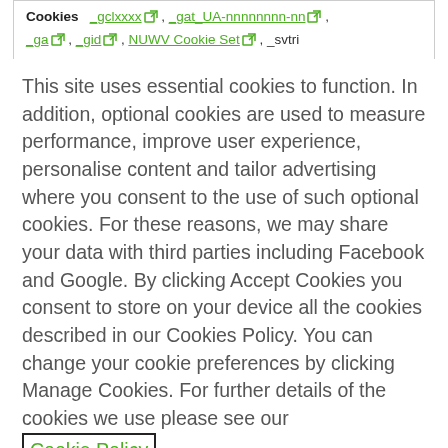| Cookies |
| --- |
| _gclxxxx , _gat_UA-nnnnnnnn-nn , _ga , _gid , NUWV Cookie Set , _svtri |
This site uses essential cookies to function. In addition, optional cookies are used to measure performance, improve user experience, personalise content and tailor advertising where you consent to the use of such optional cookies. For these reasons, we may share your data with third parties including Facebook and Google. By clicking Accept Cookies you consent to store on your device all the cookies described in our Cookies Policy. You can change your cookie preferences by clicking Manage Cookies. For further details of the cookies we use please see our Cookie Policy
Accept All Cookies
Reject All Cookies